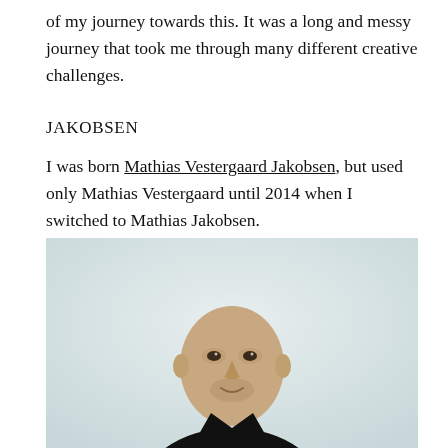of my journey towards this. It was a long and messy journey that took me through many different creative challenges.
JAKOBSEN
I was born Mathias Vestergaard Jakobsen, but used only Mathias Vestergaard until 2014 when I switched to Mathias Jakobsen.
[Figure (photo): Portrait photo of a bald man in a black jacket and black t-shirt, against a light grey background, looking slightly to the side with a subtle smile.]